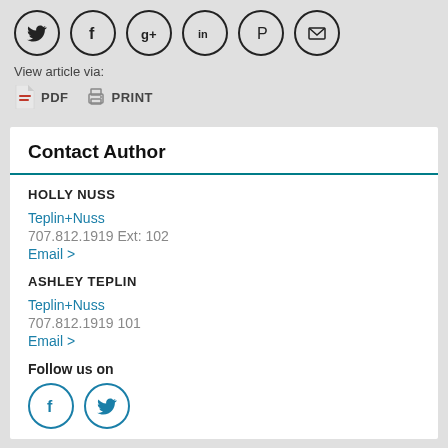[Figure (illustration): Row of 6 social media icon circles: Twitter, Facebook, Google+, LinkedIn, Pinterest, Email]
View article via:
PDF   PRINT
Contact Author
HOLLY NUSS
Teplin+Nuss
707.812.1919 Ext: 102
Email >
ASHLEY TEPLIN
Teplin+Nuss
707.812.1919 101
Email >
Follow us on
[Figure (illustration): Two follow icons: Facebook (f) and Twitter (bird), both in teal circle outlines]